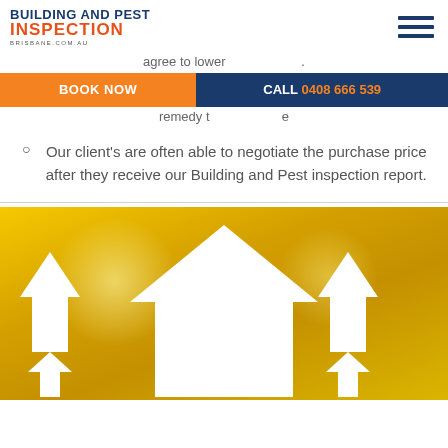[Figure (logo): Building and Pest Inspection Brisbane logo with orange and dark blue text]
agree to lower ... remedy ... e
BOOK NOW   CALL 0408 666 539
Our client's are often able to negotiate the purchase price after they receive our Building and Pest inspection report.
[Figure (photo): Gold/yellow background with white house silhouette shapes and arrows pointing upward]